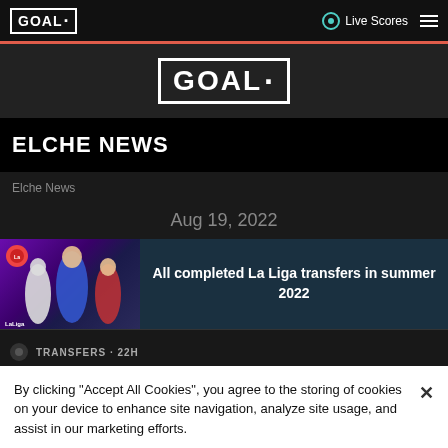GOAL | Live Scores
[Figure (logo): GOAL logo centered on dark background]
ELCHE NEWS
Elche News
Aug 19, 2022
[Figure (photo): La Liga transfers article thumbnail with football players silhouettes on purple background with LaLiga badge]
All completed La Liga transfers in summer 2022
TRANSFERS · 22h
By clicking "Accept All Cookies", you agree to the storing of cookies on your device to enhance site navigation, analyze site usage, and assist in our marketing efforts.